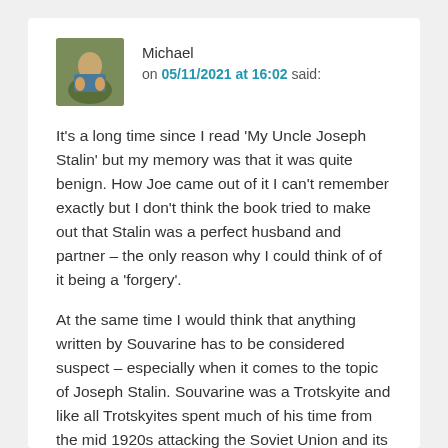Michael on 05/11/2021 at 16:02 said:
It's a long time since I read 'My Uncle Joseph Stalin' but my memory was that it was quite benign. How Joe came out of it I can't remember exactly but I don't think the book tried to make out that Stalin was a perfect husband and partner – the only reason why I could think of of it being a 'forgery'.
At the same time I would think that anything written by Souvarine has to be considered suspect – especially when it comes to the topic of Joseph Stalin. Souvarine was a Trotskyite and like all Trotskyites spent much of his time from the mid 1920s attacking the Soviet Union and its leadership.